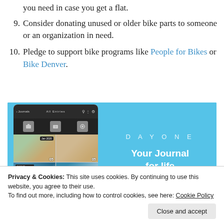you need in case you get a flat.
9. Consider donating unused or older bike parts to someone or an organization in need.
10. Pledge to support bike programs like People for Bikes or Bike Denver.
[Figure (screenshot): DayOne app advertisement showing phone screenshot of photo journal app on left and 'DAYONE Your Journal for life' text on cyan/blue background on right]
Privacy & Cookies: This site uses cookies. By continuing to use this website, you agree to their use. To find out more, including how to control cookies, see here: Cookie Policy